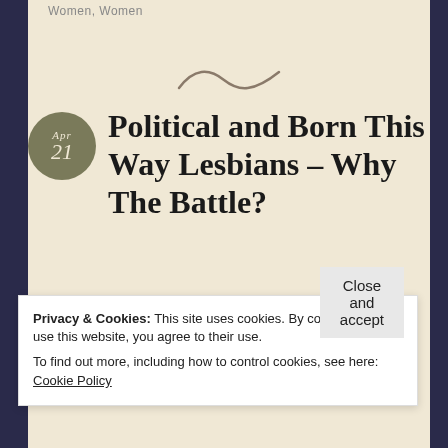Women, Women
[Figure (illustration): Decorative tilde/swirl divider]
Political and Born This Way Lesbians – Why The Battle?
Last night, I found and was reading a post on Facebook from several days ago that was a
Privacy & Cookies: This site uses cookies. By continuing to use this website, you agree to their use.
To find out more, including how to control cookies, see here: Cookie Policy
Close and accept